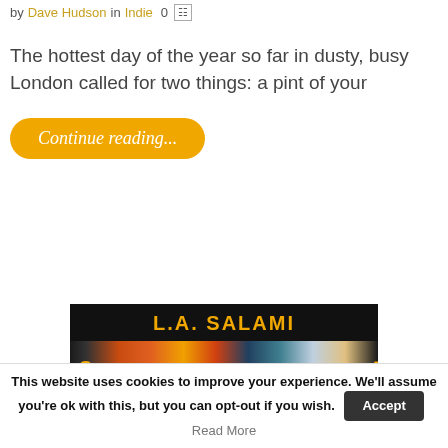by Dave Hudson in Indie 0
The hottest day of the year so far in dusty, busy London called for two things: a pint of your
Continue reading...
[Figure (advertisement): L.A. Salami band advertisement banner with dark background, yellow text title and colorful image strip with the letters S and a menu icon on sides]
This website uses cookies to improve your experience. We'll assume you're ok with this, but you can opt-out if you wish. Accept Read More